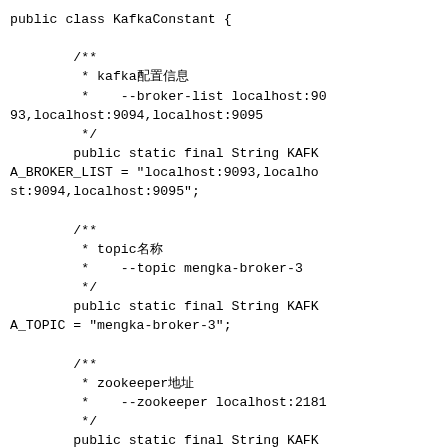public class KafkaConstant {

        /**
         * kafka配置信息
         *    --broker-list localhost:9093,localhost:9094,localhost:9095
         */
        public static final String KAFKA_BROKER_LIST = "localhost:9093,localhost:9094,localhost:9095";

        /**
         * topic名称
         *    --topic mengka-broker-3
         */
        public static final String KAFKA_TOPIC = "mengka-broker-3";

        /**
         * zookeeper地址
         *    --zookeeper localhost:2181
         */
        public static final String KAFKA_ZOOKEEPER_CONNECT = "localhost:2181";